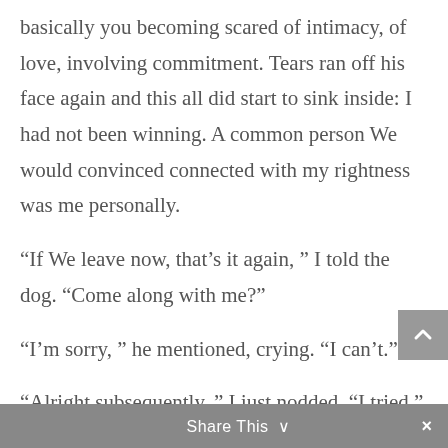basically you becoming scared of intimacy, of love, involving commitment. Tears ran off his face again and this all did start to sink inside: I had not been winning. A common person We would convinced connected with my rightness was me personally.
“If We leave now, that’s it again, ” I told the dog. “Come along with me?”
“I’m sorry, ” he mentioned, crying. “I can’t.”
“Alright subsequently, ” I just nodded. “I tried.”
Share This ∨   ×